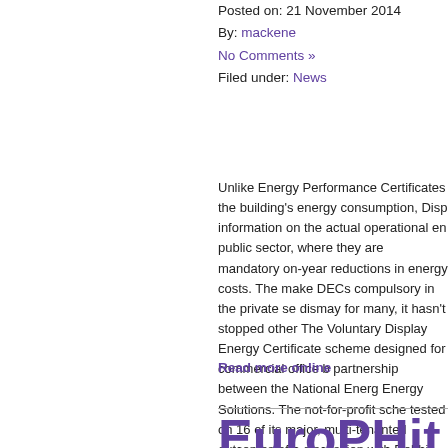Posted on: 21 November 2014
By: mackene
No Comments »
Filed under: News
Unlike Energy Performance Certificates the building's energy consumption, Disp information on the actual operational en public sector, where they are mandatory on-year reductions in energy costs. The make DECs compulsory in the private se dismay for many, it hasn't stopped other The Voluntary Display Energy Certificate scheme designed for commercial office b partnership between the National Energ Energy Solutions. The not-for-profit sche tested on 16 of its major, multi-tenanted outcomes of a discussion with Debbie H General Property, and Malcolm Hanna, t about the initiative.
Read more online
EuroPHit